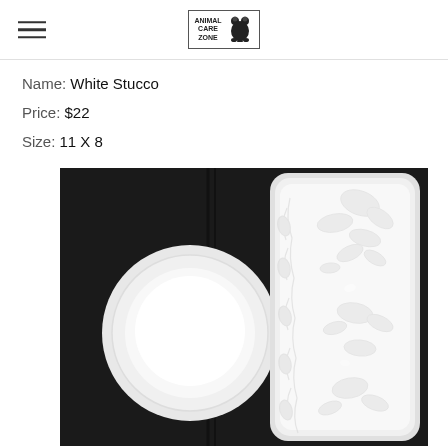Animal Care Zone logo with hamburger menu
Name: White Stucco
Price: $22
Size: 11 X 8
[Figure (photo): Photo of two white ceramic pieces on a dark background: a small round bowl on the left and a long rectangular tray with embossed floral/leaf pattern on the right]